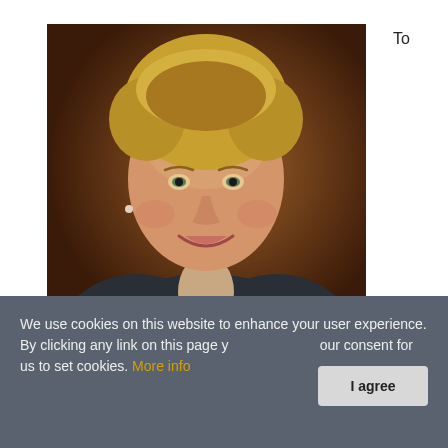To
[Figure (photo): Professional headshot of Lynn Barnes, a woman with short blonde hair, smiling, wearing a dark blazer and pearl necklace, against a warm brown studio background.]
Lynn Barnes, VP, Data Analytics &
We use cookies on this website to enhance your user experience. By clicking any link on this page you are giving your consent for us to set cookies. More info